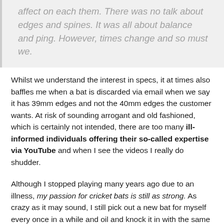affect on each them. There was no talk about edges and spines. It was all about balance and ping. However, times change and so must we.
Whilst we understand the interest in specs, it at times also baffles me when a bat is discarded via email when we say it has 39mm edges and not the 40mm edges the customer wants. At risk of sounding arrogant and old fashioned, which is certainly not intended, there are too many ill-informed individuals offering their so-called expertise via YouTube and when I see the videos I really do shudder.
Although I stopped playing many years ago due to an illness, my passion for cricket bats is still as strong. As crazy as it may sound, I still pick out a new bat for myself every once in a while and oil and knock it in with the same passion I had many years ago. The bat stays behind my desk and every few days it gets